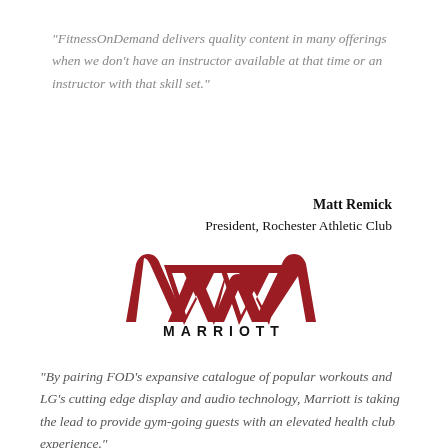“FitnessOnDemand delivers quality content in many offerings when we don’t have an instructor available at that time or an instructor with that skill set.”
Matt Remick
President, Rochester Athletic Club
[Figure (logo): Marriott hotel logo: red stylized M chevrons above the word MARRIOTT in black capital letters with wide letter spacing]
“By pairing FOD’s expansive catalogue of popular workouts and LG’s cutting edge display and audio technology, Marriott is taking the lead to provide gym-going guests with an elevated health club experience.”